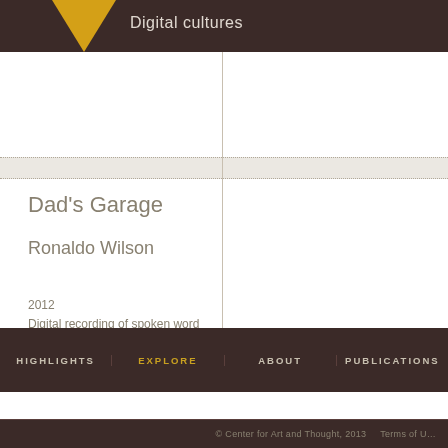Digital cultures
Dad's Garage
Ronaldo Wilson
2012
Digital recording of spoken word
Duration: 9m 15s
Material courtesy of Ronaldo Wilson
HIGHLIGHTS  EXPLORE  ABOUT  PUBLICATIONS
© Center for Art and Thought, 2013  Terms of U…